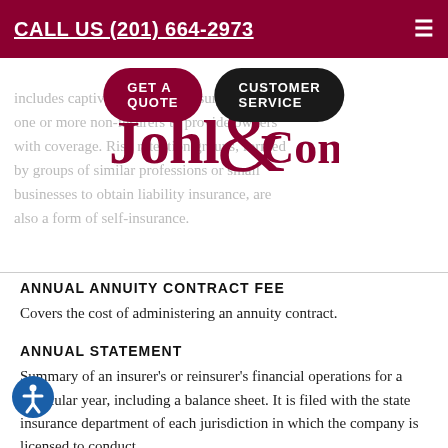CALL US (201) 664-2973
[Figure (logo): Johl & Company logo in dark red serif font with ampersand design]
includes captives, which are insurers owned by one or more non-insurers to provide owners with coverage. Risk retention groups, formed by groups of similar professions or small businesses to obtain liability insurance, are also a form of self-insurance.
ANNUAL ANNUITY CONTRACT FEE
Covers the cost of administering an annuity contract.
ANNUAL STATEMENT
Summary of an insurer's or reinsurer's financial operations for a particular year, including a balance sheet. It is filed with the state insurance department of each jurisdiction in which the company is licensed to conduct business.